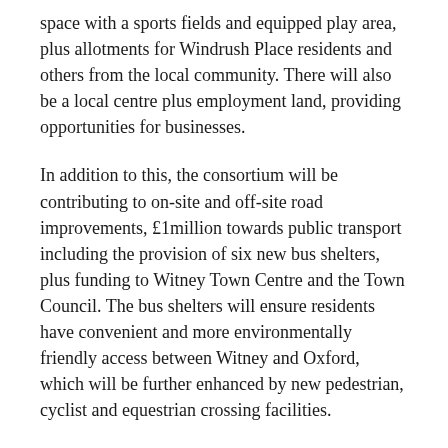space with a sports fields and equipped play area, plus allotments for Windrush Place residents and others from the local community. There will also be a local centre plus employment land, providing opportunities for businesses.
In addition to this, the consortium will be contributing to on-site and off-site road improvements, £1million towards public transport including the provision of six new bus shelters, plus funding to Witney Town Centre and the Town Council. The bus shelters will ensure residents have convenient and more environmentally friendly access between Witney and Oxford, which will be further enhanced by new pedestrian, cyclist and equestrian crossing facilities.
The primary school will serve the Windrush Place and Colwell Green community in west Witney –